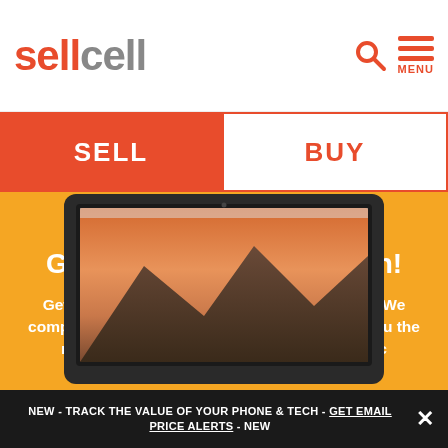[Figure (logo): SellCell logo with 'sell' in red and 'cell' in gray, with search icon and hamburger menu icon on the right]
SELL
BUY
Sell Apple Mac - Get the GUARANTEED Most Cash!
Get the best deal on your Apple Mac Trade In. We compare prices from all the top buyers to get you the max cash when you trade in your Apple Mac
[Figure (photo): MacBook laptop showing a mountain wallpaper (macOS Sierra), partially visible at bottom of orange hero section]
NEW - TRACK THE VALUE OF YOUR PHONE & TECH - GET EMAIL PRICE ALERTS - NEW